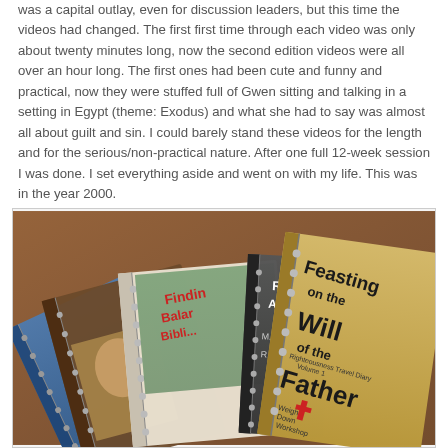was a capital outlay, even for discussion leaders, but this time the videos had changed. The first first time through each video was only about twenty minutes long, now the second edition videos were all over an hour long. The first ones had been cute and funny and practical, now they were stuffed full of Gwen sitting and talking in a setting in Egypt (theme: Exodus) and what she had to say was almost all about guilt and sin. I could barely stand these videos for the length and for the serious/non-practical nature. After one full 12-week session I was done. I set everything aside and went on with my life. This was in the year 2000.
[Figure (photo): Photo of several spiral-bound workbooks fanned out on a brown leather surface. Visible titles include 'Feasting on the Will of the Father' (Weigh Down Workshop, Righteousness Travel Diary, Volume 1), 'Finding Balance' (partially visible), and 'Rising Above' (partially visible). The books appear to be religious diet program workbooks.]